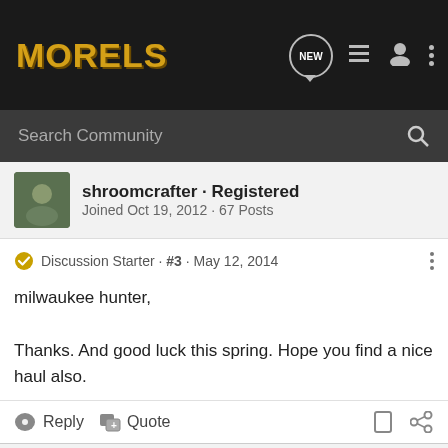MORELS
Search Community
shroomcrafter · Registered
Joined Oct 19, 2012 · 67 Posts
Discussion Starter · #3 · May 12, 2014
milwaukee hunter,

Thanks. And good luck this spring. Hope you find a nice haul also.
Reply  Quote
chad · Registered
Joined Apr 25, 2013 · 84 Posts